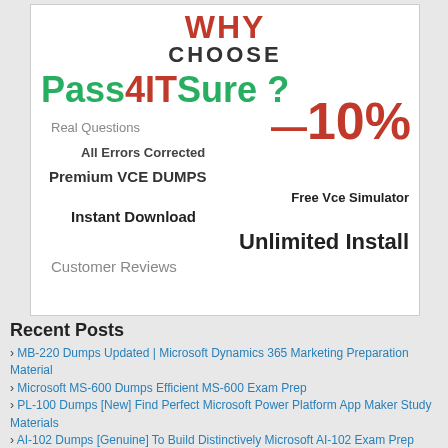[Figure (infographic): Pass4ITSure promotional banner with 'WHY CHOOSE Pass4ITSure?' heading, -10% discount badge, and feature list: Real Questions, All Errors Corrected, Premium VCE DUMPS, Free Vce Simulator, Instant Download, Unlimited Install, Customer Reviews]
Recent Posts
MB-220 Dumps Updated | Microsoft Dynamics 365 Marketing Preparation Material
Microsoft MS-600 Dumps Efficient MS-600 Exam Prep
PL-100 Dumps [New] Find Perfect Microsoft Power Platform App Maker Study Materials
AI-102 Dumps [Genuine] To Build Distinctively Microsoft AI-102 Exam Prep
MB-240 Exam Dumps [Updated] | Best of Prep For Microsoft MB-240 Exam Materials